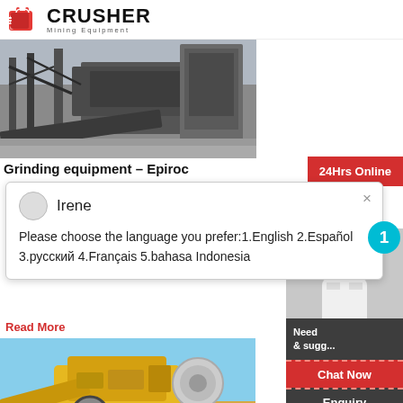[Figure (logo): Crusher Mining Equipment logo with red shopping bag icon and bold CRUSHER text]
[Figure (photo): Aerial/overhead view of large industrial grinding equipment and conveyor structures, dark grey metal framework]
Grinding equipment - Epiroc
Irene
Please choose the language you prefer:1.English 2.Español 3.русский 4.Français 5.bahasa Indonesia
Read More
[Figure (photo): Yellow and grey rock grinding mill machinery outdoors]
Rock Grinding Mill Manual Operati
24Hrs Online
Need & sugg...
1
Chat Now
Enquiry
limingjlmofen@sina.com